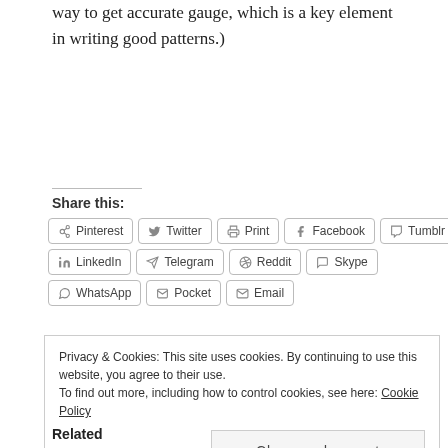way to get accurate gauge, which is a key element in writing good patterns.)
Share this:
[Figure (other): Social share buttons: Pinterest, Twitter, Print, Facebook, Tumblr, LinkedIn, Telegram, Reddit, Skype, WhatsApp, Pocket, Email]
Privacy & Cookies: This site uses cookies. By continuing to use this website, you agree to their use. To find out more, including how to control cookies, see here: Cookie Policy
Close and accept
Related